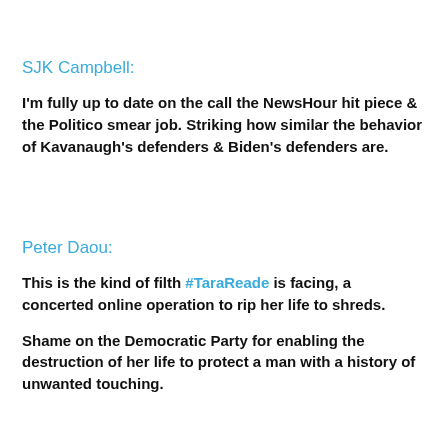SJK Campbell:
I'm fully up to date on the call the NewsHour hit piece & the Politico smear job. Striking how similar the behavior of Kavanaugh's defenders & Biden's defenders are.
Peter Daou:
This is the kind of filth #TaraReade is facing, a concerted online operation to rip her life to shreds.
Shame on the Democratic Party for enabling the destruction of her life to protect a man with a history of unwanted touching.